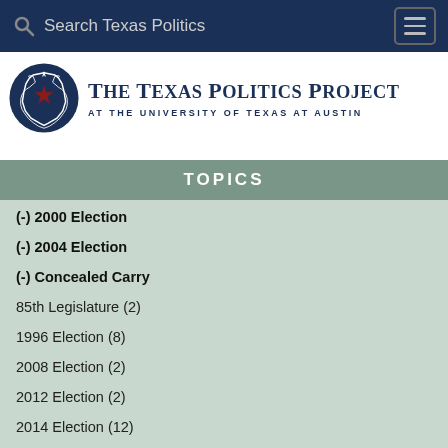Search Texas Politics
[Figure (logo): The Texas Politics Project at The University of Texas at Austin logo with Texas state outline and star]
TOPICS
(-) 2000 Election
(-) 2004 Election
(-) Concealed Carry
85th Legislature (2)
1996 Election (8)
2008 Election (2)
2012 Election (2)
2014 Election (12)
2016 Election (1)
2018 Election (1)